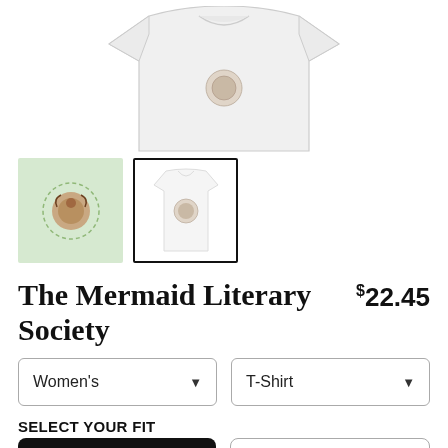[Figure (photo): White t-shirt product photo shown from front, cropped at top]
[Figure (photo): Thumbnail 1: design on green background (mermaid literary society artwork)]
[Figure (photo): Thumbnail 2: white t-shirt with design, selected (black border)]
The Mermaid Literary Society
$22.45
Women's (dropdown)
T-Shirt (dropdown)
SELECT YOUR FIT
$22.45
Fitted
$22.45
Regular Unisex